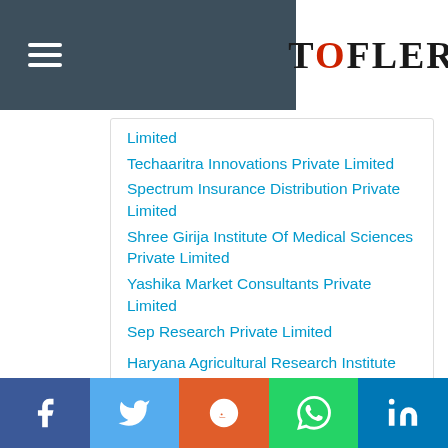Tofler
Limited
Techaaritra Innovations Private Limited
Spectrum Insurance Distribution Private Limited
Shree Girija Institute Of Medical Sciences Private Limited
Yashika Market Consultants Private Limited
Sep Research Private Limited
Haryana Agricultural Research Institute
Facebook Twitter Reddit WhatsApp LinkedIn